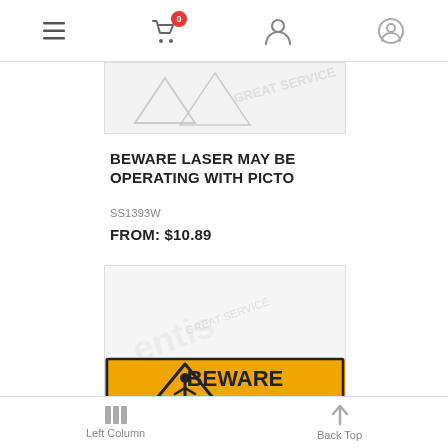Navigation bar with hamburger menu, cart (0), person, and account icons
[Figure (photo): Partial product image cropped at top, grey watermark visible]
BEWARE LASER MAY BE OPERATING WITH PICTO
SS1393W
FROM: $10.89
[Figure (photo): Warning sign product image on white background with watermark 'Great Service'. Sign shows yellow background with black triangle warning symbol containing a person figure, and text 'BEWARE FIXED HAZARD']
Left Column   Back Top